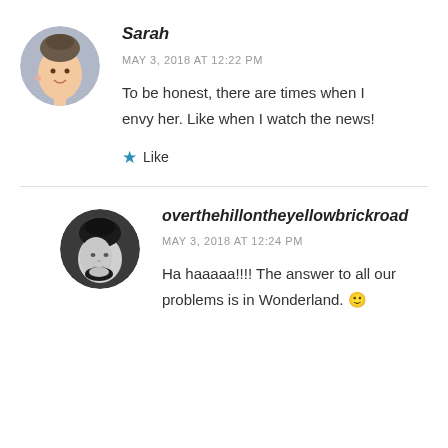[Figure (photo): Circular avatar photo of Sarah, a young woman with hair up, smiling.]
Sarah
MAY 3, 2018 AT 12:22 PM
To be honest, there are times when I envy her. Like when I watch the news!
Like
[Figure (photo): Circular avatar photo of overthehillontheyellowbrickroad, a woman resting chin on hand, black and white photo.]
overthehillontheyellowbrickroad
MAY 3, 2018 AT 12:24 PM
Ha haaaaa!!!! The answer to all our problems is in Wonderland. 🙂